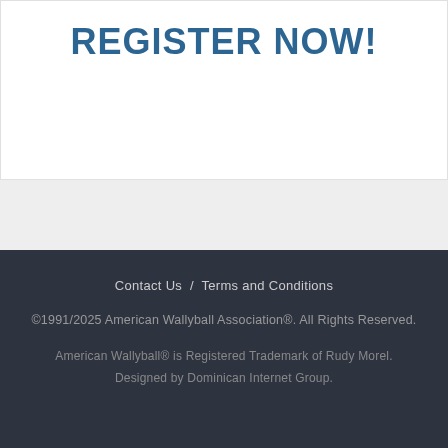REGISTER NOW!
Contact Us / Terms and Conditions
©1991/2025 American Wallyball Association®. All Rights Reserved.
American Wallyball® is Registered Trademark of Rudy Morel.
Designed by Dominican Internet Group.